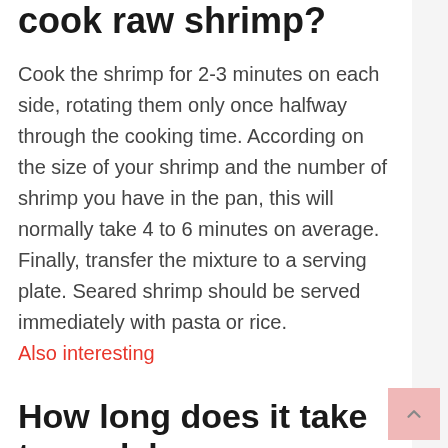cook raw shrimp?
Cook the shrimp for 2-3 minutes on each side, rotating them only once halfway through the cooking time. According on the size of your shrimp and the number of shrimp you have in the pan, this will normally take 4 to 6 minutes on average. Finally, transfer the mixture to a serving plate. Seared shrimp should be served immediately with pasta or rice.
Also interesting
How long does it take to cook large raw shrimp?